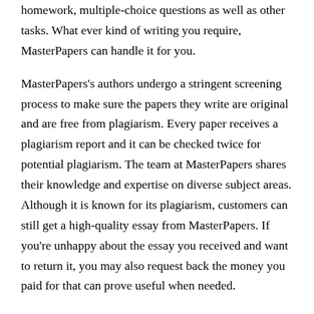homework, multiple-choice questions as well as other tasks. What ever kind of writing you require, MasterPapers can handle it for you.
MasterPapers's authors undergo a stringent screening process to make sure the papers they write are original and are free from plagiarism. Every paper receives a plagiarism report and it can be checked twice for potential plagiarism. The team at MasterPapers shares their knowledge and expertise on diverse subject areas. Although it is known for its plagiarism, customers can still get a high-quality essay from MasterPapers. If you're unhappy about the essay you received and want to return it, you may also request back the money you paid for that can prove useful when needed.
The user can determine whether MasterPapers authentic or not through...